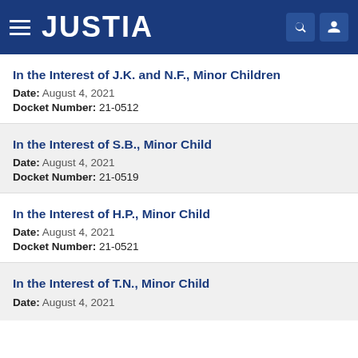JUSTIA
In the Interest of J.K. and N.F., Minor Children
Date: August 4, 2021
Docket Number: 21-0512
In the Interest of S.B., Minor Child
Date: August 4, 2021
Docket Number: 21-0519
In the Interest of H.P., Minor Child
Date: August 4, 2021
Docket Number: 21-0521
In the Interest of T.N., Minor Child
Date: August 4, 2021